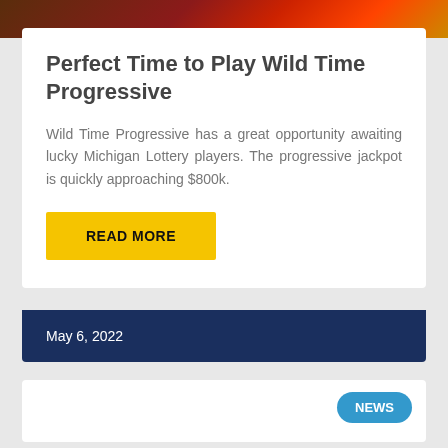[Figure (photo): Top image showing dice and lottery themed imagery with red and orange tones]
Perfect Time to Play Wild Time Progressive
Wild Time Progressive has a great opportunity awaiting lucky Michigan Lottery players. The progressive jackpot is quickly approaching $800k.
READ MORE
May 6, 2022
NEWS